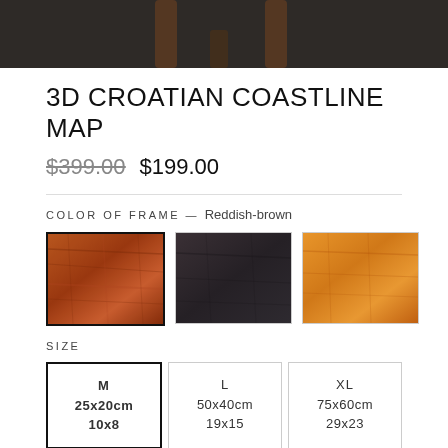[Figure (photo): Product photo showing the bottom portion of a 3D wooden map object on a dark background]
3D CROATIAN COASTLINE MAP
$399.00 $199.00
COLOR OF FRAME — Reddish-brown
[Figure (photo): Three color swatches for frame: reddish-brown (selected), dark/black, and light orange-brown]
SIZE
| M
25x20cm
10x8 | L
50x40cm
19x15 | XL
75x60cm
29x23 |
Add to cart